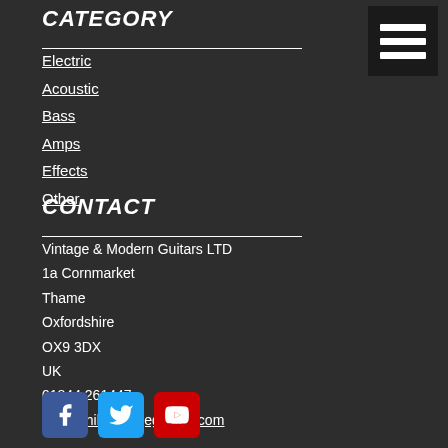CATEGORY
Electric
Acoustic
Bass
Amps
Effects
Other
CONTACT
Vintage & Modern Guitars LTD
1a Cornmarket
Thame
Oxfordshire
OX9 3DX
UK
01844 261447
phil@philsvintageguitars.com
[Figure (other): Social media icons: Facebook (blue), Twitter (blue), YouTube (red)]